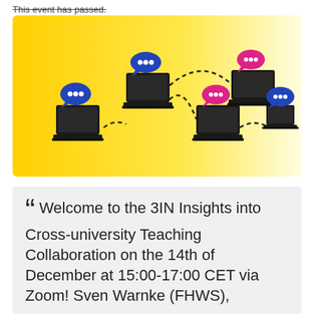This event has passed.
[Figure (illustration): Yellow-to-white gradient banner showing five laptop computers connected by dashed arcs. Three laptops have blue speech bubbles with dots, and two have pink/magenta speech bubbles with dots, depicting cross-university online collaboration.]
Welcome to the 3IN Insights into Cross-university Teaching Collaboration on the 14th of December at 15:00-17:00 CET via Zoom!  Sven Warnke (FHWS),